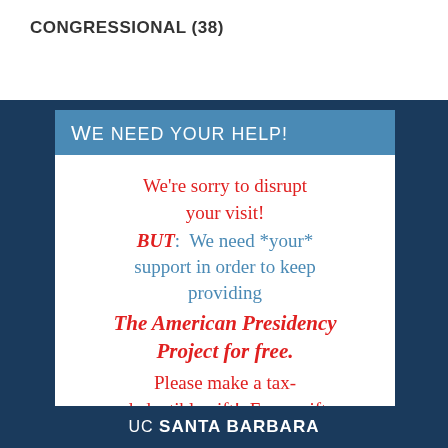CONGRESSIONAL (38)
We need your help!
We're sorry to disrupt your visit! BUT:  We need *your* support in order to keep providing The American Presidency Project for free. Please make a tax-deductible gift!  Every gift
UC SANTA BARBARA